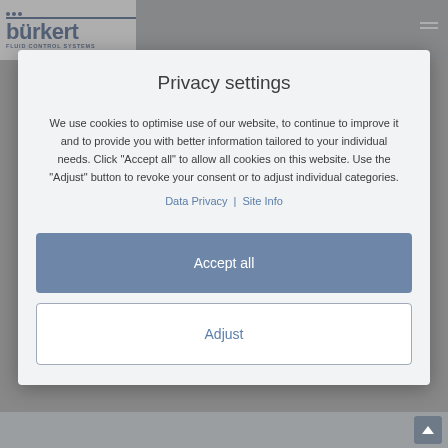[Figure (logo): Bürkert Fluid Control Systems logo with blue text and dots]
Privacy settings
We use cookies to optimise use of our website, to continue to improve it and to provide you with better information tailored to your individual needs. Click “Accept all” to allow all cookies on this website. Use the “Adjust” button to revoke your consent or to adjust individual categories.
Data Privacy | Site Info
Accept all
Adjust